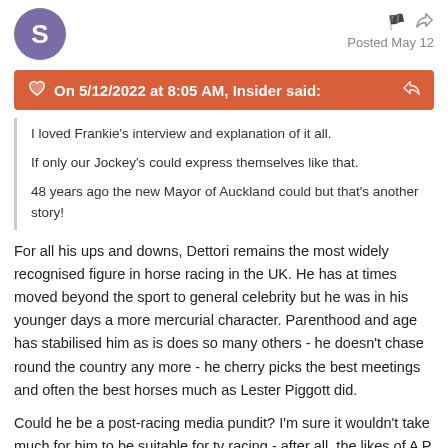[Figure (illustration): Purple circular avatar with white letter S]
Posted May 12
On 5/12/2022 at 8:05 AM, Insider said:
I loved Frankie's interview and explanation of it all.

If only our Jockey's could express themselves like that.

48 years ago the new Mayor of Auckland could but that's another story!
For all his ups and downs, Dettori remains the most widely recognised figure in horse racing in the UK. He has at times moved beyond the sport to general celebrity but he was in his younger days a more mercurial character. Parenthood and age has stabilised him as is does so many others - he doesn't chase round the country any more - he cherry picks the best meetings and often the best horses much as Lester Piggott did.
Could he be a post-racing media pundit? I'm sure it wouldn't take much for him to be suitable for tv racing - after all, the likes of A P McCoy and Ruby Walsh are now regulars on the tv screens. Jason Weaver, who rode with Dettori for many years, has carved out a